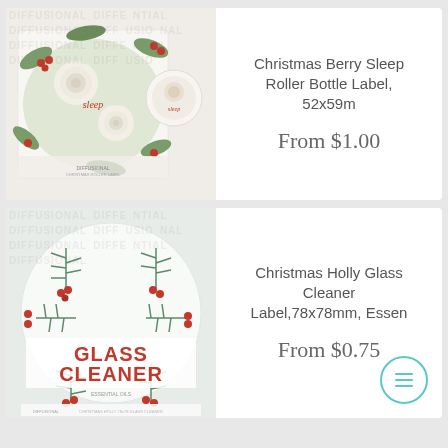[Figure (photo): Christmas Berry Sleep Roller Bottle Label product image showing floral design with roses, holly berries, and greenery on a rectangular label with a small circular label beside it]
Christmas Berry Sleep Roller Bottle Label, 52x59m
From $1.00
[Figure (photo): Christmas Holly Glass Cleaner Label product image showing a circular label with pine/holly branch pattern and 'GLASS CLEANER' text in red]
Christmas Holly Glass Cleaner Label,78x78mm, Essen
From $0.75